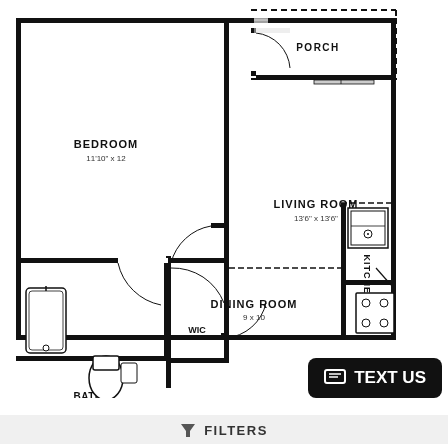[Figure (engineering-diagram): Apartment floor plan showing: Bedroom (11'10" x 12), Living Room (13'6" x 13'6"), Porch, WIC (walk-in closet), Bath, Dining Room (9 x 10), Kitchen. Includes door swings, bathroom fixtures (tub, toilet), kitchen appliances.]
TEXT US
FILTERS